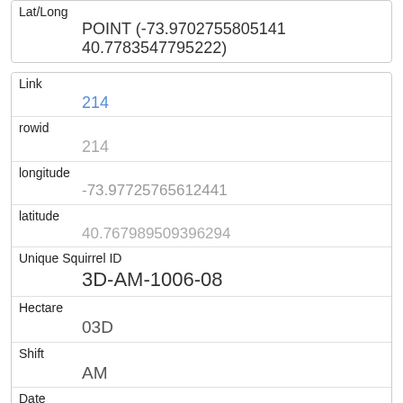| Field | Value |
| --- | --- |
| Lat/Long | POINT (-73.9702755805141 40.7783547795222) |
| Link | 214 |
| rowid | 214 |
| longitude | -73.97725765612441 |
| latitude | 40.767989509396294 |
| Unique Squirrel ID | 3D-AM-1006-08 |
| Hectare | 03D |
| Shift | AM |
| Date | 10062018 |
| Hectare Squirrel Number | 8 |